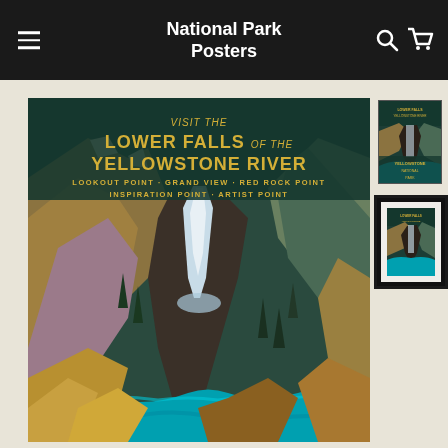National Park Posters
[Figure (illustration): Vintage WPA-style travel poster for Yellowstone National Park Lower Falls of the Yellowstone River. Shows a dramatic canyon landscape with a large waterfall cascading into a turquoise river, surrounded by rugged canyon walls in golden, tan, and purple hues with pine trees and snow-capped peaks. Text reads: VISIT THE LOWER FALLS OF THE YELLOWSTONE RIVER / LOOKOUT POINT · GRAND VIEW · RED ROCK POINT / INSPIRATION POINT · ARTIST POINT]
[Figure (photo): Small thumbnail of the Yellowstone poster showing the full unframed poster]
[Figure (photo): Small thumbnail of the Yellowstone poster shown in a black frame with white mat]